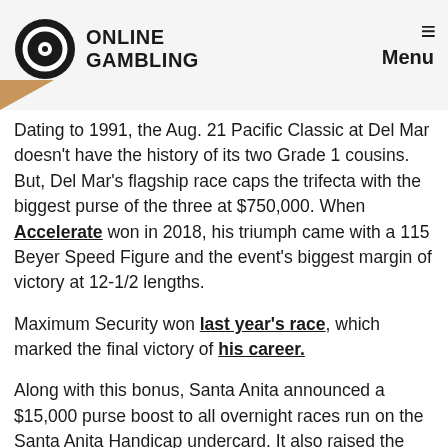ONLINE GAMBLING | Menu
Dating to 1991, the Aug. 21 Pacific Classic at Del Mar doesn't have the history of its two Grade 1 cousins. But, Del Mar's flagship race caps the trifecta with the biggest purse of the three at $750,000. When Accelerate won in 2018, his triumph came with a 115 Beyer Speed Figure and the event's biggest margin of victory at 12-1/2 lengths.
Maximum Security won last year's race, which marked the final victory of his career.
Along with this bonus, Santa Anita announced a $15,000 purse boost to all overnight races run on the Santa Anita Handicap undercard. It also raised the purse on the China Doll Stakes that day by $25,000 to $100,000.
[Figure (other): Tweet and Share social media buttons]
Similar Guides On This Topic